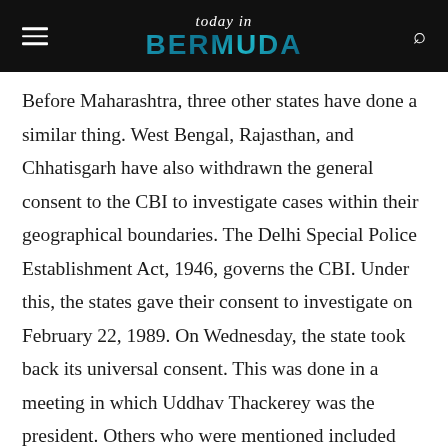today in BERMUDA
Before Maharashtra, three other states have done a similar thing. West Bengal, Rajasthan, and Chhatisgarh have also withdrawn the general consent to the CBI to investigate cases within their geographical boundaries. The Delhi Special Police Establishment Act, 1946, governs the CBI. Under this, the states gave their consent to investigate on February 22, 1989. On Wednesday, the state took back its universal consent. This was done in a meeting in which Uddhav Thackerey was the president. Others who were mentioned included Sha...